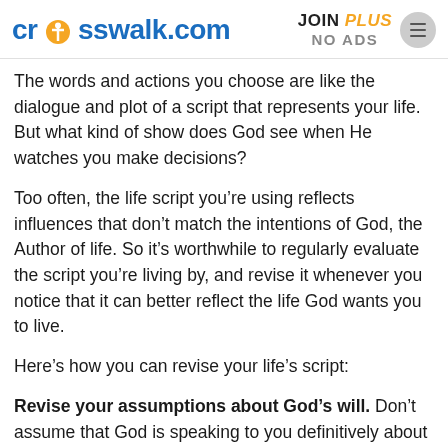crosswalk.com | JOIN PLUS NO ADS
The words and actions you choose are like the dialogue and plot of a script that represents your life. But what kind of show does God see when He watches you make decisions?
Too often, the life script you’re using reflects influences that don’t match the intentions of God, the Author of life. So it’s worthwhile to regularly evaluate the script you’re living by, and revise it whenever you notice that it can better reflect the life God wants you to live.
Here’s how you can revise your life’s script:
Revise your assumptions about God’s will. Don’t assume that God is speaking to you definitively about any matter involving other people, and then announce to